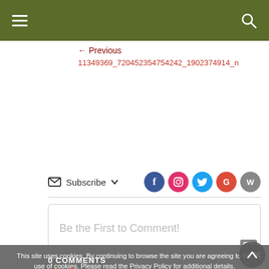Navigation menu header bar with hamburger menu and search icon
← Previous
11349369_720452354754242_1902374914_n
[Figure (other): Subscribe button with envelope icon and dropdown arrow, and social media icons: Facebook, Instagram, Twitter, Google+, WordPress]
Be the First to Comment!
This site uses cookies. By continuing to browse the site you are agreeing to the use of cookies. Please read the Privacy Policy for additional details.
0 COMMENTS